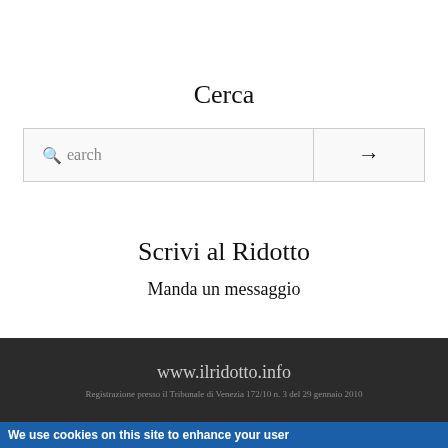Cerca
[Figure (screenshot): Search bar with magnifying glass icon on the left and right arrow button on the right]
Scrivi al Ridotto
Manda un messaggio
www.ilridotto.info
Registrazione presso il Tribunale di Venezia 172/10 n. 3 del 29 gennaio 2010
We use cookies on this site to enhance your user